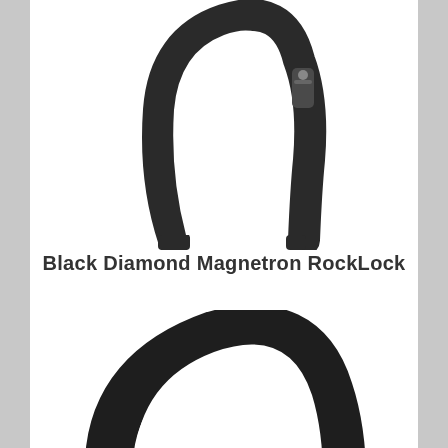[Figure (photo): Close-up photo of a black carabiner (Black Diamond Magnetron RockLock) on white background, showing the top portion with gate mechanism]
Black Diamond Magnetron RockLock
[Figure (photo): Close-up photo of a black carabiner with red/copper colored gate insert visible on the right side, showing the lower portion on white background]
[Figure (screenshot): Bloomingdales advertisement banner: logo reading 'bloomingdales', tagline 'View Today's Top Deals!', photo of woman in large hat, and 'SHOP NOW >' button]
infolinks